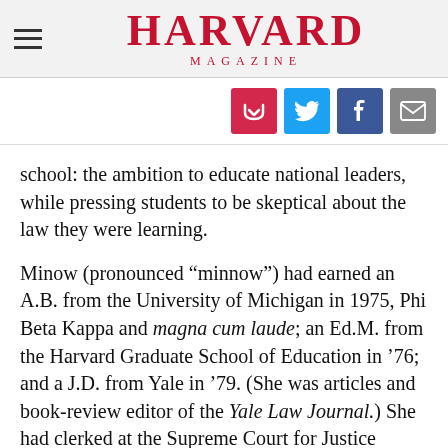HARVARD MAGAZINE
[Figure (infographic): Social sharing icons: Pocket (red), Twitter (blue), Facebook (dark blue), Email (gray)]
school: the ambition to educate national leaders, while pressing students to be skeptical about the law they were learning.
Minow (pronounced “minnow”) had earned an A.B. from the University of Michigan in 1975, Phi Beta Kappa and magna cum laude; an Ed.M. from the Harvard Graduate School of Education in ‘76; and a J.D. from Yale in ’79. (She was articles and book-review editor of the Yale Law Journal.) She had clerked at the Supreme Court for Justice Thurgood Marshall, a giant in American history